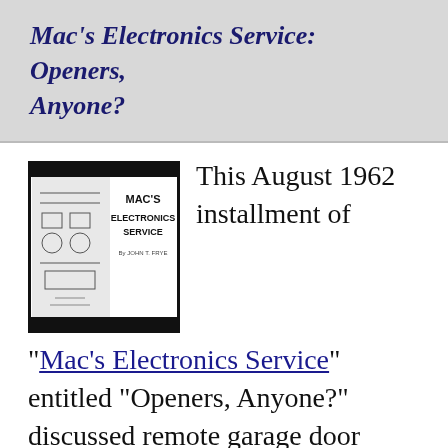Mac's Electronics Service: Openers, Anyone?
[Figure (illustration): Magazine cover image for Mac's Electronics Service by John T. Frye, showing electronic equipment illustration with bold title text]
This August 1962 installment of "Mac's Electronics Service" entitled "Openers, Anyone?" discussed remote garage door openers that were getting popular in the day. As usual